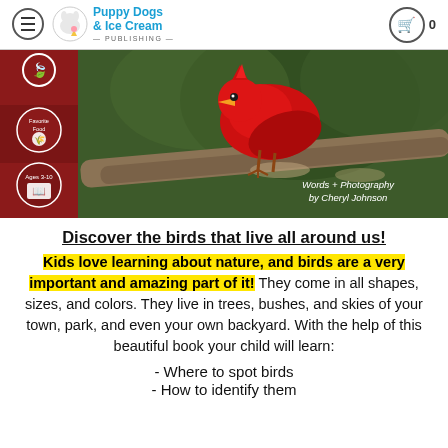Puppy Dogs & Ice Cream PUBLISHING — navigation bar with hamburger menu and cart
[Figure (photo): A bright red cardinal bird perched on a branch, photographed close-up. Left side has red panels with icons (favorite food badge, ages 3-10 badge). Text overlay reads: Words + Photography by Cheryl Johnson]
Discover the birds that live all around us!
Kids love learning about nature, and birds are a very important and amazing part of it! They come in all shapes, sizes, and colors. They live in trees, bushes, and skies of your town, park, and even your own backyard. With the help of this beautiful book your child will learn:
- Where to spot birds
- How to identify them